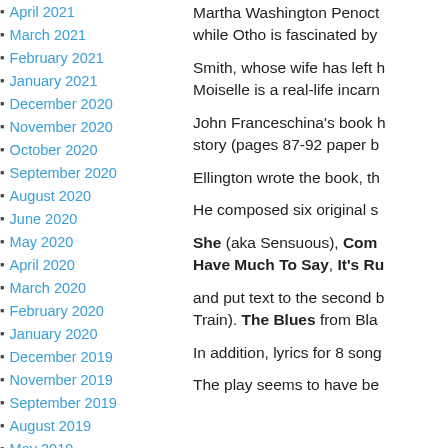April 2021
March 2021
February 2021
January 2021
December 2020
November 2020
October 2020
September 2020
August 2020
June 2020
May 2020
April 2020
March 2020
February 2020
January 2020
December 2019
November 2019
September 2019
August 2019
May 2019
April 2019
March 2019
February 2019
January 2019
Martha Washington Penoct while Otho is fascinated by
Smith, whose wife has left h Moiselle is a real-life incarn
John Franceschina's book h story (pages 87-92 paper b
Ellington wrote the book, th
He composed six original s
She (aka Sensuous), Come Have Much To Say, It's Ru
and put text to the second b Train). The Blues from Bla
In addition, lyrics for 8 song
The play seems to have be